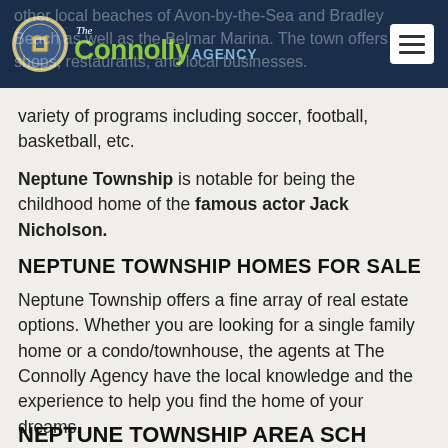The Connolly Agency
other local beaches of Avon-by-the-Sea and Bradley Beach as well as the Belmar Marina. The town offers shops, restaurants, and local businesses. The town has a recreation department which offers a variety of programs including soccer, football, basketball, etc.
Neptune Township is notable for being the childhood home of the famous actor Jack Nicholson.
NEPTUNE TOWNSHIP HOMES FOR SALE
Neptune Township offers a fine array of real estate options. Whether you are looking for a single family home or a condo/townhouse, the agents at The Connolly Agency have the local knowledge and the experience to help you find the home of your dreams.
NEPTUNE TOWNSHIP AREA SCHOOLS